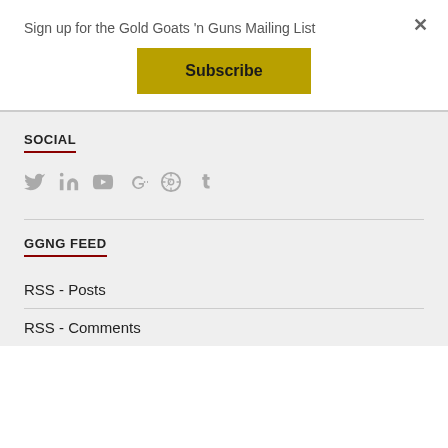Sign up for the Gold Goats 'n Guns Mailing List
[Figure (other): Subscribe button - gold/yellow colored button with bold text 'Subscribe']
SOCIAL
[Figure (other): Social media icons: Twitter, LinkedIn, YouTube, Google+, WordPress, Tumblr - all in gray]
GGNG FEED
RSS - Posts
RSS - Comments